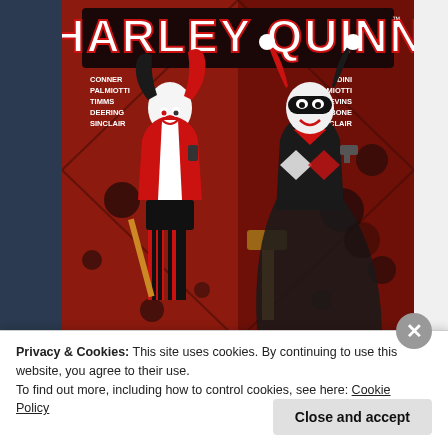[Figure (illustration): Harley Quinn comic book cover showing two versions of Harley Quinn characters on a dark red background. Left side shows modern Harley in red and black jacket with pigtails holding a phone. Right side shows classic Harley in traditional jester costume holding a mallet and gun. Title 'HARLEY QUINN' in stylized red and white lettering at top. Credits listed: CONNER, PALMIOTTI, TIMMS, DEERING, SINCLAIR on left; DINI, PALMIOTTI, BLEVINS, BONE, SINCLAIR on right.]
Privacy & Cookies: This site uses cookies. By continuing to use this website, you agree to their use.
To find out more, including how to control cookies, see here: Cookie Policy